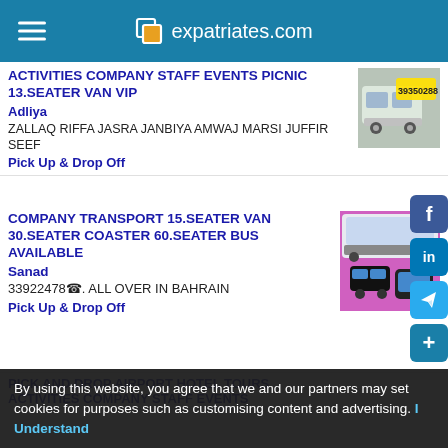expatriates.com
ACTIVITIES COMPANY STAFF EVENTS PICNIC 13.SEATER VAN VIP
Adliya
ZALLAQ RIFFA JASRA JANBIYA AMWAJ MARSI JUFFIR SEEF
Pick Up & Drop Off
[Figure (photo): White van with yellow sticker showing phone number 39350288]
COMPANY TRANSPORT 15.SEATER VAN 30.SEATER COASTER 60.SEATER BUS AVAILABLE
Sanad
33922478☎. ALL OVER IN BAHRAIN
Pick Up & Drop Off
[Figure (photo): Collage of transport vehicles: buses and cars on pink/purple background]
PICK AND DROP AIRPORT HOTEL TOURS ACTIVITIES COMPANY STAFF EVENTS
By using this website, you agree that we and our partners may set cookies for purposes such as customising content and advertising. I Understand